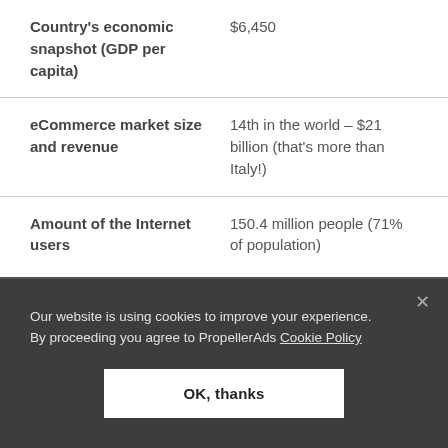| Field | Value |
| --- | --- |
| Country's economic snapshot (GDP per capita) | $6,450 |
| eCommerce market size and revenue | 14th in the world – $21 billion (that's more than Italy!) |
| Amount of the Internet users | 150.4 million people (71% of population) |
Our website is using cookies to improve your experience. By proceeding you agree to PropellerAds Cookie Policy
OK, thanks